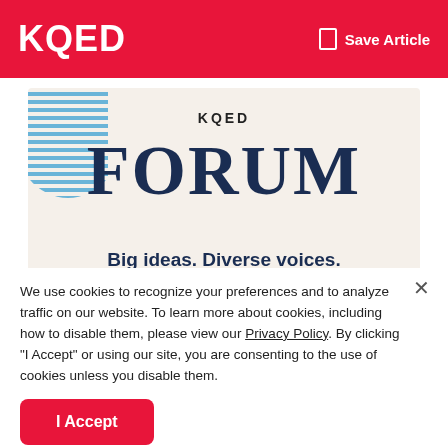KQED   Save Article
[Figure (illustration): KQED Forum advertisement banner with blue diagonal-striped circle accent, large 'FORUM' serif title in navy, tagline 'Big ideas. Diverse voices. Engaging conversations.' and a 'Listen now' dark navy button, on a warm beige background.]
We use cookies to recognize your preferences and to analyze traffic on our website. To learn more about cookies, including how to disable them, please view our Privacy Policy. By clicking "I Accept" or using our site, you are consenting to the use of cookies unless you disable them.
I Accept